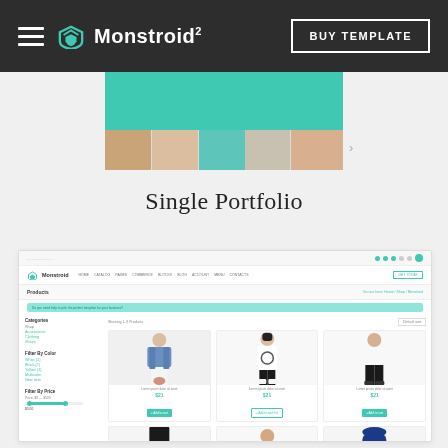Monstroid² — BUY TEMPLATE
[Figure (screenshot): Monstroid² website template screenshot showing teal banner with portrait strip carousel, Single Portfolio heading, and a product shop page with sidebar categories/filters and product grid with fashion photos]
Single Portfolio